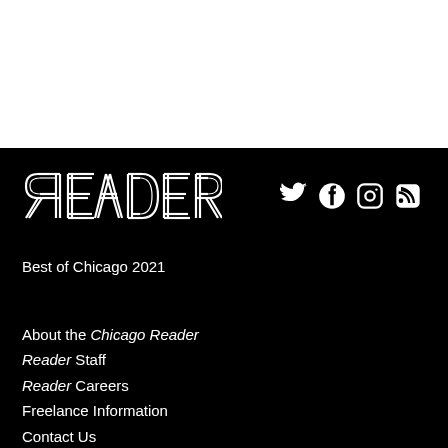[Figure (logo): Chicago Reader logo with reversed R in art deco style, white text on black background]
[Figure (infographic): Social media icons: Twitter, Facebook, Instagram, RSS feed — white icons on black background]
Best of Chicago 2021
About the Chicago Reader
Reader Staff
Reader Careers
Freelance Information
Contact Us